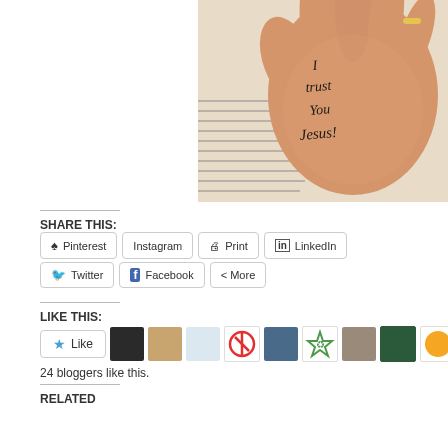[Figure (photo): A hand with 'I trust You Jesus!' written in black marker on the palm, held over an open Bible page.]
SHARE THIS:
Pinterest
Instagram
Print
LinkedIn
Twitter
Facebook
More
LIKE THIS:
24 bloggers like this.
RELATED